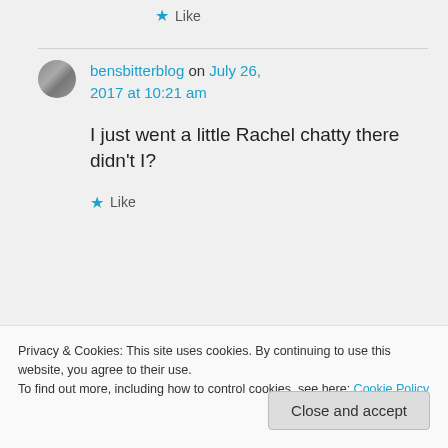★ Like
bensbitterblog on July 26, 2017 at 10:21 am
I just went a little Rachel chatty there didn't I?
★ Like
Privacy & Cookies: This site uses cookies. By continuing to use this website, you agree to their use.
To find out more, including how to control cookies, see here: Cookie Policy
Close and accept